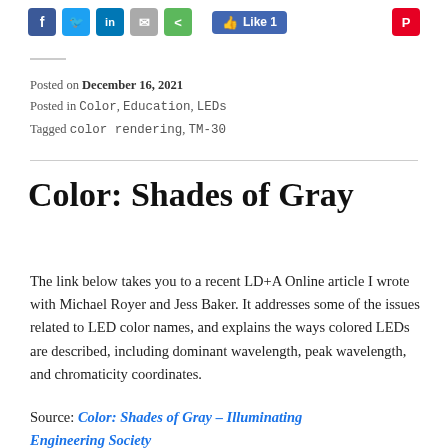[Figure (screenshot): Social sharing icons: Facebook, Twitter, LinkedIn, Email, Share buttons; a blue Like 1 button; and a Pinterest button on the right]
Posted on December 16, 2021
Posted in Color, Education, LEDs
Tagged color rendering, TM-30
Color: Shades of Gray
The link below takes you to a recent LD+A Online article I wrote with Michael Royer and Jess Baker. It addresses some of the issues related to LED color names, and explains the ways colored LEDs are described, including dominant wavelength, peak wavelength, and chromaticity coordinates.
Source: Color: Shades of Gray – Illuminating Engineering Society